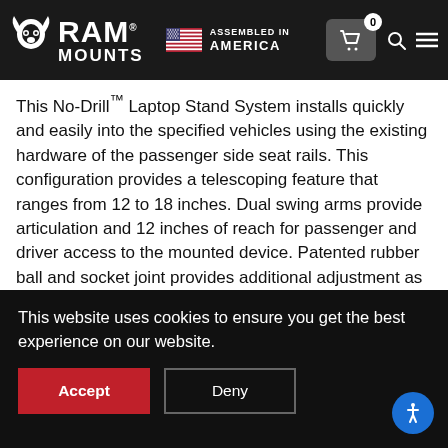[Figure (logo): RAM Mounts logo with ram skull icon, white text on dark background, plus US flag and 'Assembled in America' text, cart icon with 0 badge, search and menu icons]
This No-Drill™ Laptop Stand System installs quickly and easily into the specified vehicles using the existing hardware of the passenger side seat rails. This configuration provides a telescoping feature that ranges from 12 to 18 inches. Dual swing arms provide articulation and 12 inches of reach for passenger and driver access to the mounted device. Patented rubber ball and socket joint provides additional adjustment as well as shock and vibration isolation. The RAM Tough-Tray™ is spring loaded to accommodate 10" to 16" wide laptops (17" wide
This website uses cookies to ensure you get the best experience on our website.
Accept
Deny